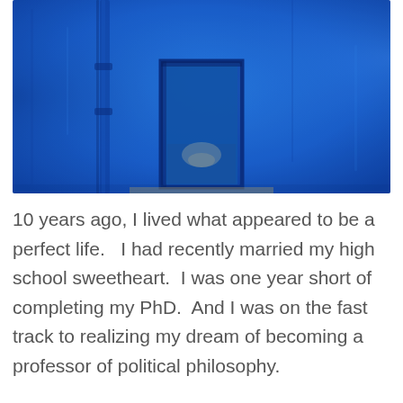[Figure (photo): A vivid blue painted wall with a small rectangular door frame in the center, also painted blue. A vertical pipe runs along the left side of the wall. The overall scene is monochromatic blue with slight texture and weathering visible on the door.]
10 years ago, I lived what appeared to be a perfect life.   I had recently married my high school sweetheart.  I was one year short of completing my PhD.  And I was on the fast track to realizing my dream of becoming a professor of political philosophy.